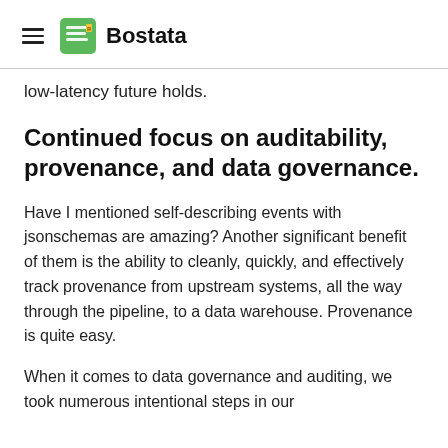Bostata
low-latency future holds.
Continued focus on auditability, provenance, and data governance.
Have I mentioned self-describing events with jsonschemas are amazing? Another significant benefit of them is the ability to cleanly, quickly, and effectively track provenance from upstream systems, all the way through the pipeline, to a data warehouse. Provenance is quite easy.
When it comes to data governance and auditing, we took numerous intentional steps in our